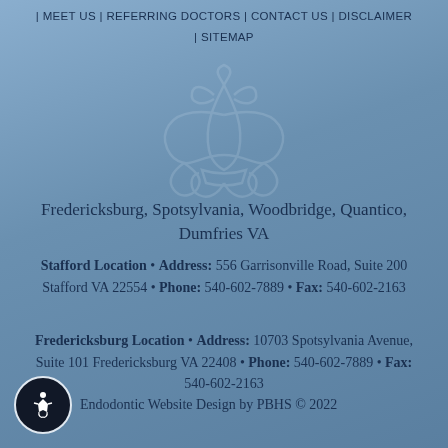| MEET US | REFERRING DOCTORS | CONTACT US | DISCLAIMER | SITEMAP
[Figure (illustration): Decorative fleur-de-lis / ornamental watermark in light blue]
Fredericksburg, Spotsylvania, Woodbridge, Quantico, Dumfries VA
Stafford Location • Address: 556 Garrisonville Road, Suite 200 Stafford VA 22554 • Phone: 540-602-7889 • Fax: 540-602-2163
Fredericksburg Location • Address: 10703 Spotsylvania Avenue, Suite 101 Fredericksburg VA 22408 • Phone: 540-602-7889 • Fax: 540-602-2163
Endodontic Website Design by PBHS © 2022